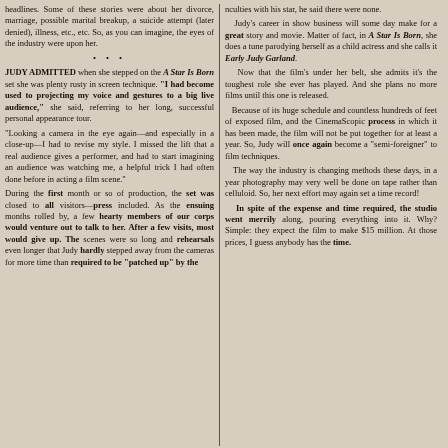headlines. Some of these stories were about her divorce, marriage, possible marital breakup, a suicide attempt (later denied), illness, etc., etc. So, as you can imagine, the eyes of the industry were upon her.
JUDY ADMITTED when she stepped on the A Star Is Born set she was plenty rusty in screen technique. "I had become used to projecting my voice and gestures to a big live audience," she said, referring to her long, successful personal appearance tour.
"Looking a camera in the eye again—and especially in a close-up—I had to revise my style. I missed the lift that a real audience gives a performer, and had to start imagining an audience was watching me, a helpful trick I had often done before in acting a film scene."
During the first month or so of production, the set was closed to all visitors—press included. As the ensuing months rolled by, a few hearty members of our corps would venture out to talk to her. After a few visits, most would give up. The scenes were so long and rehearsals even longer that Judy hardly stepped away from the cameras for more time than required to be "patched up" by the
nculties with his star, he said there were none.
Judy's career in show business will some day make for a great story and movie. Matter of fact, in A Star Is Born, she does a tune parodying herself as a child actress and she calls it Early Judy Garland.
Now that the film's under her belt, she admits it's the toughest role she ever has played. And she plans no more films until this one is released.
Because of its huge schedule and countless hundreds of feet of exposed film, and the CinemaScopic process in which it has been made, the film will not be put together for at least a year. So, Judy will once again become a "semi-foreigner" to film techniques.
The way the industry is changing methods these days, in a year photography may very well be done on tape rather than celluloid. So, her next effort may again set a time record!
In spite of the expense and time required, the studio went merrily along, pouring everything into it. Why? Simple: they expect the film to make $15 million. At those prices, I guess anybody has the time.